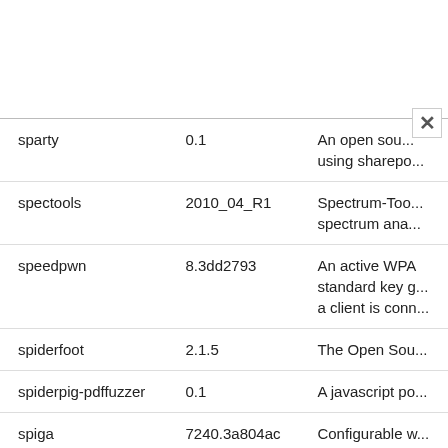| Name | Version | Description |
| --- | --- | --- |
| sparty | 0.1 | An open sou... using sharepo... |
| spectools | 2010_04_R1 | Spectrum-Too... spectrum ana... |
| speedpwn | 8.3dd2793 | An active WPA standard key g... a client is conn... |
| spiderfoot | 2.1.5 | The Open Sou... |
| spiderpig-pdffuzzer | 0.1 | A javascript po... |
| spiga | 7240.3a804ac | Configurable w... |
| spike | 2.9 | IMMUNITYsec'... |
| spike-proxy | 148 | A Proxy for d... |